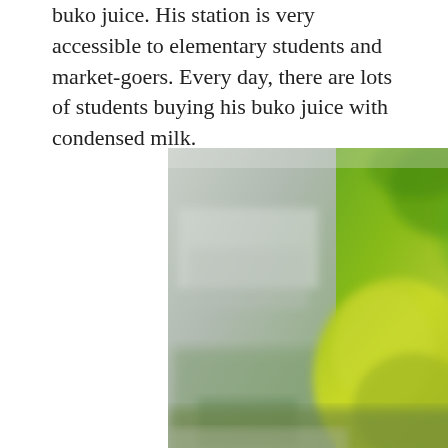buko juice. His station is very accessible to elementary students and market-goers. Every day, there are lots of students buying his buko juice with condensed milk.
[Figure (photo): A blurry close-up photograph showing what appears to be a green coconut (buko) in the foreground on the right side, with a blurred lighter/grey background on the left side, possibly a market or outdoor setting.]